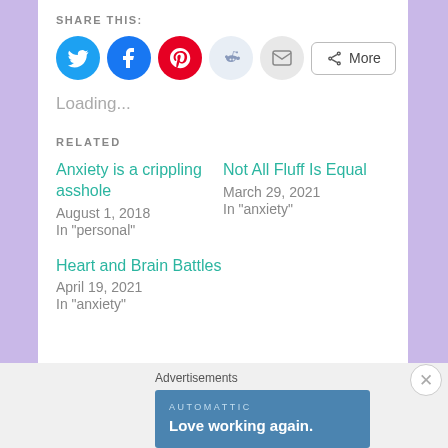SHARE THIS:
[Figure (other): Row of social share buttons: Twitter (blue circle), Facebook (blue circle), Pinterest (red circle), Reddit (light blue circle), Email (gray circle), and a More button with share icon]
Loading...
RELATED
Anxiety is a crippling asshole
August 1, 2018
In "personal"
Not All Fluff Is Equal
March 29, 2021
In "anxiety"
Heart and Brain Battles
April 19, 2021
In "anxiety"
Advertisements
[Figure (other): Automattic advertisement banner: blue background, text 'AUTOMATTIC' and 'Love working again.']